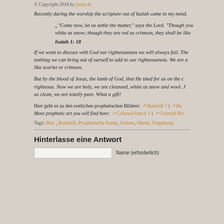© Copyright 2018 by josity.de
Recently during the worship the scripture out of Isaiah came to my mind.
„"Come now, let us settle the matter," says the Lord. "Though your... white as snow; though they are red as crimson, they shall be like...
Isaiah 1: 18
If we want to discuss with God our righteousness we will always fail. The... nothing we can bring out of ourself to add to our righteousness. We are a... like scarlet or crimson.
But by the blood of Jesus, the lamb of God, that He shed for us on the c... righteous. Now we are holy, we are cleansed, white as snow and wool. J... us clean, we are totally pure. What a gift!
Hier geht es zu den restlichen prophetischen Bildern: ↗ Buntstift 1 | ↗ Bu...
More prophetic art you will find here: ↗ Colored Pencil 1 | ↗ Colored Per...
Tags: Blut, Buntstift, Prophetische Kunst, Schnee, Sünde, Vergebung
Hinterlasse eine Antwort
Name (erforderlich)